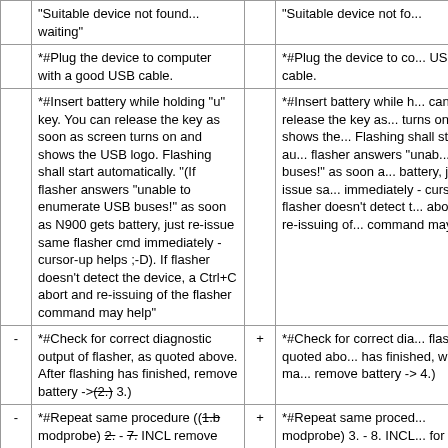|  | Left column |  | Right column |
| --- | --- | --- | --- |
|  | "Suitable device not found... waiting" |  | "Suitable device not fo..." |
|  | *#Plug the device to computer with a good USB cable. |  | *#Plug the device to computer with a good USB cable. |
|  | *#Insert battery while holding "u" key. You can release the key as soon as screen turns on and shows the USB logo. Flashing shall start automatically. "(If flasher answers "unable to enumerate USB buses!" as soon as N900 gets battery, just re-issue same flasher cmd immediately - cursor-up helps ;-D). If flasher doesn't detect the device, a Ctrl+C abort and re-issuing of the flasher command may help" |  | *#Insert battery while holding "u" key. You can release the key as soon as screen turns on and shows the USB logo. Flashing shall start automatically. "(If flasher answers "unable to enumerate USB buses!" as soon as N900 gets battery, just re-issue same flasher cmd immediately - cursor-up helps ;-D). If flasher doesn't detect the device, a Ctrl+C abort and re-issuing of the flasher command may help" |
| - | *#Check for correct diagnostic output of flasher, as quoted above. After flashing has finished, remove battery ->(2.) 3.) | + | *#Check for correct diagnostic output of flasher, as quoted above. After flashing has finished, wait a moment, remove battery -> 4.) |
| - | *#Repeat same procedure ((1.b modprobe) 2. - 7. INCL remove battery!) for each image to flash (sequence: eMMC first, then rootfs - some mess on rootfs may break eMMC flashing and require sequence rootfs eMMC rootfs again). "So far this procedure always worked, given | + | *#Repeat same procedure ((1.b modprobe) 3. - 8. INCL remove battery!) for each image to flash (sequence: eMMC first, then rootfs - some mess on rootfs may break eMMC flashing and require sequence 1.rootfs 2.eMMC 3.rootfs "again"). "So far this procedure..." |